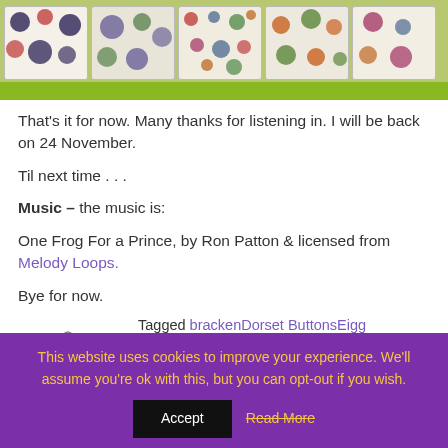[Figure (photo): Photo of patterned fabric pillows on a green shelf/surface]
That's it for now.  Many thanks for listening in.  I will be back on 24 November.
Til next time . . .
Music – the music is:
One Frog For a Prince, by Ron Patton & licensed from Melody Loops.
Bye for now.
Tagged brackenDorset ButtonsEigg SlippersEigg Slippers Downdale of
This website uses cookies to improve your experience. We'll assume you're ok with this, but you can opt-out if you wish.